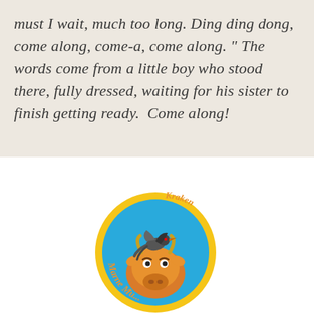must I wait, much too long. Ding ding dong, come along, come-a, come along." The words come from a little boy who stood there, fully dressed, waiting for his sister to finish getting ready.  Come along!
[Figure (logo): Circular logo with blue background and yellow border, featuring a cartoon cow with a bird (oxpecker) on its head. Text around the circle reads 'Marne Kraken'.]